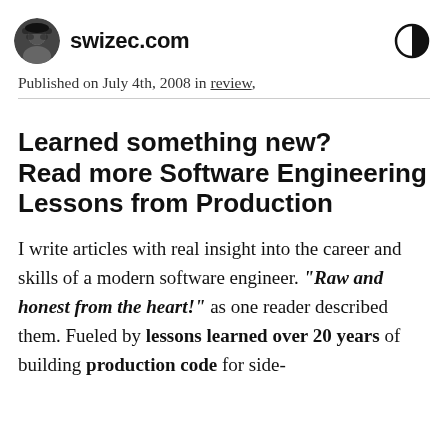swizec.com
Published on July 4th, 2008 in review,
Learned something new? Read more Software Engineering Lessons from Production
I write articles with real insight into the career and skills of a modern software engineer. "Raw and honest from the heart!" as one reader described them. Fueled by lessons learned over 20 years of building production code for side-